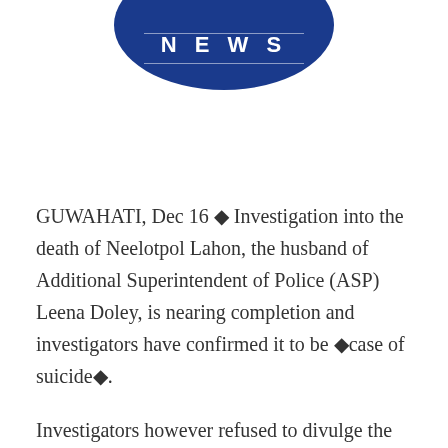[Figure (logo): Blue circular NEWS logo with white text 'NEWS' and horizontal lines]
GUWAHATI, Dec 16 ◆ Investigation into the death of Neelotpol Lahon, the husband of Additional Superintendent of Police (ASP) Leena Doley, is nearing completion and investigators have confirmed it to be ◆case of suicide◆.
Investigators however refused to divulge the reasons behind Lahon taking the extreme step on October 4 but hinted that it may be a be possible case of extreme